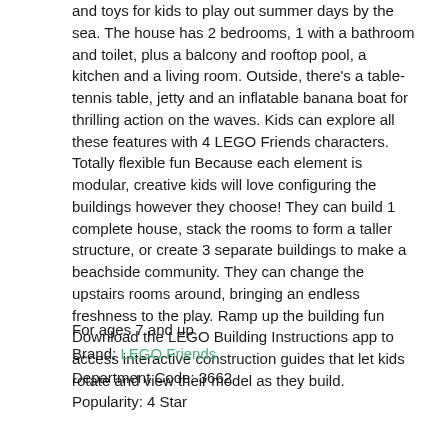and toys for kids to play out summer days by the sea. The house has 2 bedrooms, 1 with a bathroom and toilet, plus a balcony and rooftop pool, a kitchen and a living room. Outside, there's a table-tennis table, jetty and an inflatable banana boat for thrilling action on the waves. Kids can explore all these features with 4 LEGO Friends characters. Totally flexible fun Because each element is modular, creative kids will love configuring the buildings however they choose! They can build 1 complete house, stack the rooms to form a taller structure, or create 3 separate buildings to make a beachside community. They can change the upstairs rooms around, bringing an endless freshness to the play. Ramp up the building fun Download the LEGO Building Instructions app to access interactive construction guides that let kids rotate and view their model as they build.
For ages 7 and up
Brand: LEGO Friends
Department Code: 3662
Popularity: 4 Star